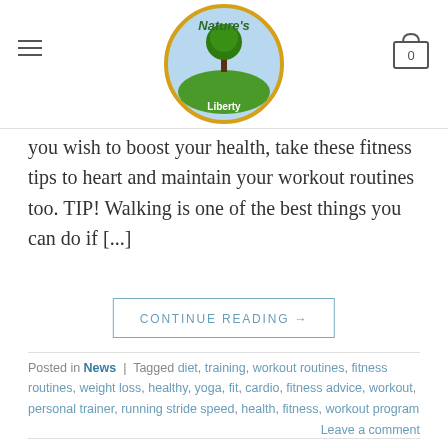[Figure (logo): Nature's Liberty circular logo with green tree, yellow border, blue-green background, and text 'Nature's Liberty']
you wish to boost your health, take these fitness tips to heart and maintain your workout routines too. TIP! Walking is one of the best things you can do if [...]
CONTINUE READING →
Posted in News | Tagged diet, training, workout routines, fitness routines, weight loss, healthy, yoga, fit, cardio, fitness advice, workout, personal trainer, running stride speed, health, fitness, workout program
Leave a comment
NEWS
Get Fit Fast With These Easy Tips
POSTED ON FEBRUARY 9, 2015 BY ADMIN